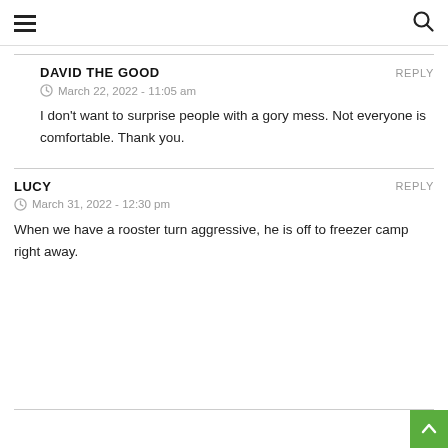Navigation menu and search icon
DAVID THE GOOD — March 22, 2022 - 11:05 am — I don't want to surprise people with a gory mess. Not everyone is comfortable. Thank you.
LUCY — March 31, 2022 - 12:30 pm — When we have a rooster turn aggressive, he is off to freezer camp right away.